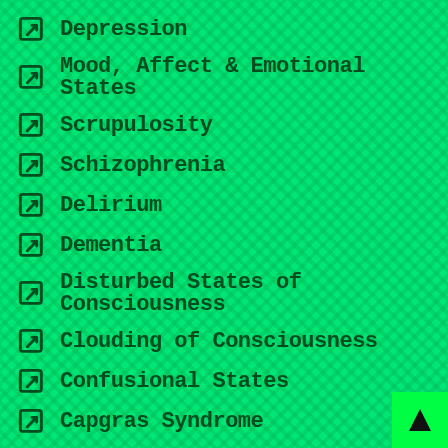Depression
Mood, Affect & Emotional States
Scrupulosity
Schizophrenia
Delirium
Dementia
Disturbed States of Consciousness
Clouding of Consciousness
Confusional States
Capgras Syndrome
Charles Bonnet Syndromes